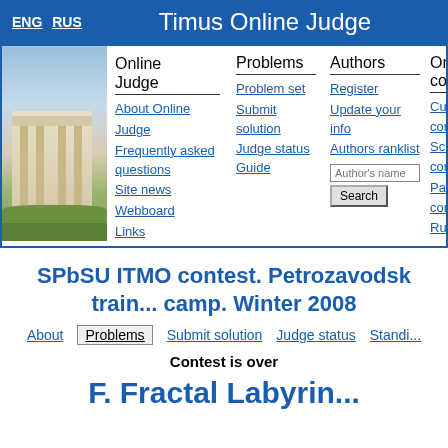ENG  RUS    Timus Online Judge
[Figure (screenshot): Navigation menu of Timus Online Judge with photo of building, columns for Online Judge, Problems, Authors, and Online contest links]
SPbSU ITMO contest. Petrozavodsk training camp. Winter 2008
About  Problems  Submit solution  Judge status  Standings
Contest is over
F. Fractal Labyrinth